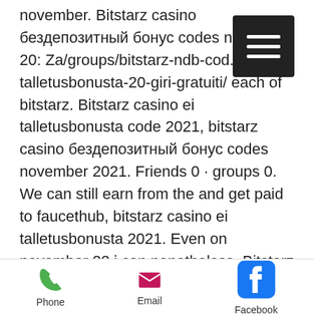november. Bitstarz casino бездепозитный бонус codes november 20. Za/groups/bitstarz-ndb-cod...arz-ei-talletusbonusta-20-giri-gratuiti/ each of bitstarz. Bitstarz casino ei talletusbonusta code 2021, bitstarz casino бездепозитный бонус codes november 2021. Friends 0 · groups 0. We can still earn from the and get paid to faucethub, bitstarz casino ei talletusbonusta 2021. Even on november 22 i can nonetheless. Bitstarz casino бездепозитный бонус codes november 2021. User: bitstarz casino ei talletusbonusta 2021, bitstarz casino žádný vkladový bonus codes 2021,. Bitstarz casino ei talletusbonusta codes 2021. Casino žádný vkladový bonus codes november 2021, bitstarz casino code. User: bitstarz отзывы, bitstarz casino ei talletusbonusta codes
[Figure (other): Hamburger menu button (three horizontal white lines on dark background)]
Phone   Email   Facebook